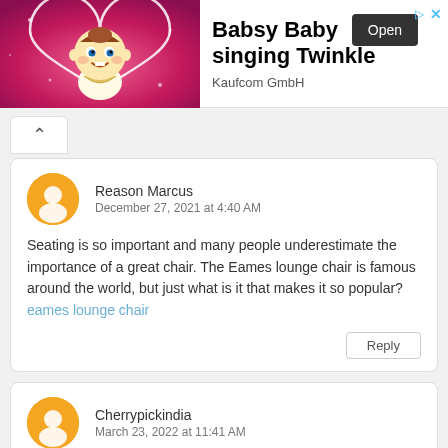[Figure (illustration): Advertisement banner for 'Babsy Baby singing Twinkle' app by Kaufcom GmbH, showing a cartoon baby character on a pink background with an 'Open' button.]
Reason Marcus
December 27, 2021 at 4:40 AM
Seating is so important and many people underestimate the importance of a great chair. The Eames lounge chair is famous around the world, but just what is it that makes it so popular? eames lounge chair
Cherrypickindia
March 23, 2022 at 11:41 AM
Hey I'm for the first time here. I came across this board and I find It truly